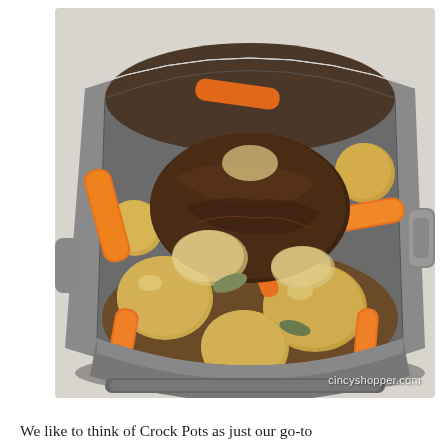[Figure (photo): A slow cooker (crock pot) filled with pot roast beef, carrots, potatoes, and onions, showing a hearty home-cooked meal. Watermark reads 'cincyshopper.com' in the bottom right corner.]
We like to think of Crock Pots as just our go-to